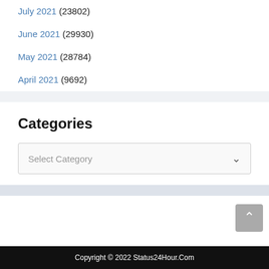July 2021 (23802)
June 2021 (29930)
May 2021 (28784)
April 2021 (9692)
Categories
Select Category
Copyright © 2022 Status24Hour.Com